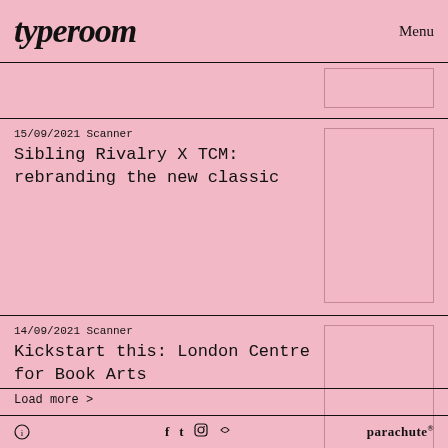typeroom   Menu
15/09/2021 Scanner
Sibling Rivalry X TCM: rebranding the new classic
[Figure (photo): Thumbnail image placeholder for article 1]
14/09/2021 Scanner
Kickstart this: London Centre for Book Arts
[Figure (photo): Thumbnail image placeholder for article 2]
Load more >
ⓘ   f  t  ⊙  p   parachute®